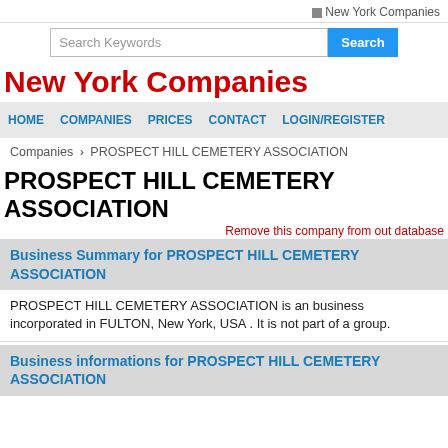New York Companies
Search Keywords
New York Companies
HOME  COMPANIES  PRICES  CONTACT  LOGIN/REGISTER
Companies > PROSPECT HILL CEMETERY ASSOCIATION
PROSPECT HILL CEMETERY ASSOCIATION
Remove this company from out database
Business Summary for PROSPECT HILL CEMETERY ASSOCIATION
PROSPECT HILL CEMETERY ASSOCIATION is an business incorporated in FULTON, New York, USA . It is not part of a group.
Business informations for PROSPECT HILL CEMETERY ASSOCIATION